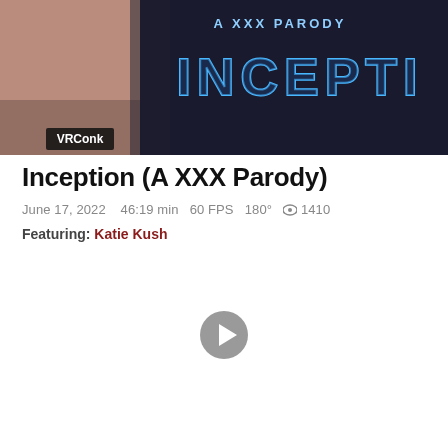[Figure (screenshot): Movie thumbnail/banner image for 'Inception (A XXX Parody)' by VRConk. Dark cinematic still with 'A XXX PARODY' and 'INCEPTI' text visible in neon blue letters. 'VRConk' label in bottom-left corner.]
Inception (A XXX Parody)
June 17, 2022   46:19 min   60 FPS   180°   👁 1410
Featuring: Katie Kush
[Figure (other): Play button icon — circular grey button with a white triangle play arrow in the center]